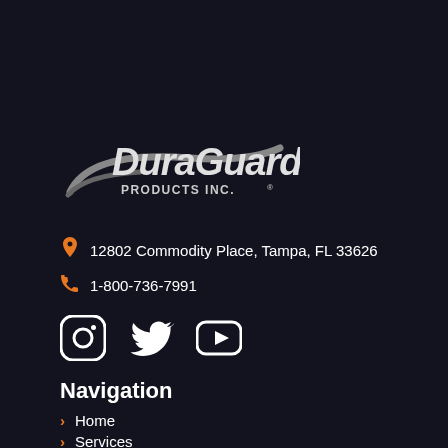[Figure (logo): DuraGuard Products Inc. logo — white italic text 'DuraGuard' with gray swoosh/arc underneath, and 'PRODUCTS INC.' in smaller text below]
12802 Commodity Place, Tampa, FL 33626
1-800-736-7991
[Figure (illustration): Social media icons: Instagram, Twitter, YouTube — white on dark background]
Navigation
Home
Services